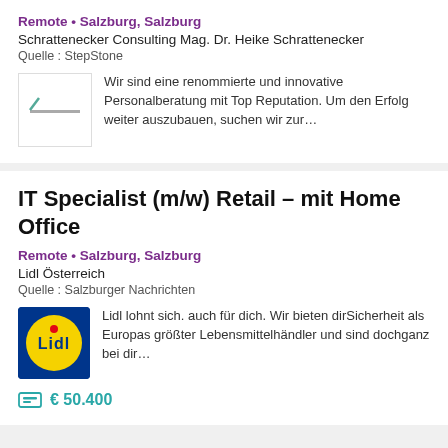Remote • Salzburg, Salzburg
Schrattenecker Consulting Mag. Dr. Heike Schrattenecker
Quelle : StepStone
[Figure (logo): Schrattenecker Consulting logo – simple geometric line mark]
Wir sind eine renommierte und innovative Personalberatung mit Top Reputation. Um den Erfolg weiter auszubauen, suchen wir zur…
IT Specialist (m/w) Retail – mit Home Office
Remote • Salzburg, Salzburg
Lidl Österreich
Quelle : Salzburger Nachrichten
[Figure (logo): Lidl logo – yellow circle with Lidl text and red/blue accent on dark blue background]
Lidl lohnt sich. auch für dich. Wir bieten dirSicherheit als Europas größter Lebensmittelhändler und sind dochganz bei dir…
€ 50.400